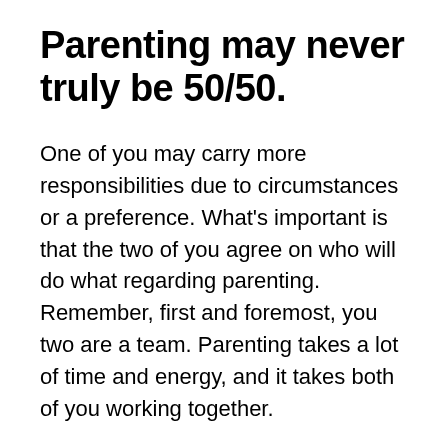Parenting may never truly be 50/50.
One of you may carry more responsibilities due to circumstances or a preference. What's important is that the two of you agree on who will do what regarding parenting. Remember, first and foremost, you two are a team. Parenting takes a lot of time and energy, and it takes both of you working together.
So, fellow default parent, let's have a quick chat. You're probably exhausted and stressed out (to be honest, most parents